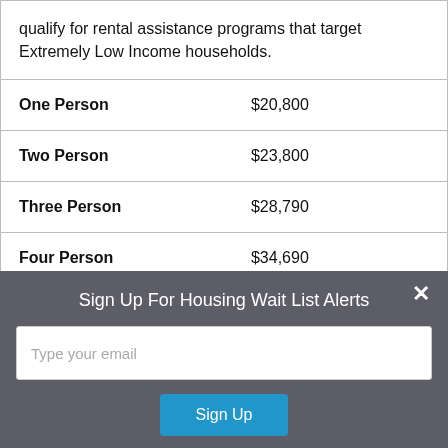qualify for rental assistance programs that target Extremely Low Income households.
| Household Size | Income Limit |
| --- | --- |
| One Person | $20,800 |
| Two Person | $23,800 |
| Three Person | $28,790 |
| Four Person | $34,690 |
| Five Person | $40,590 |
| Six Person | $46,490 |
Sign Up For Housing Wait List Alerts
Type your email
Sign Up